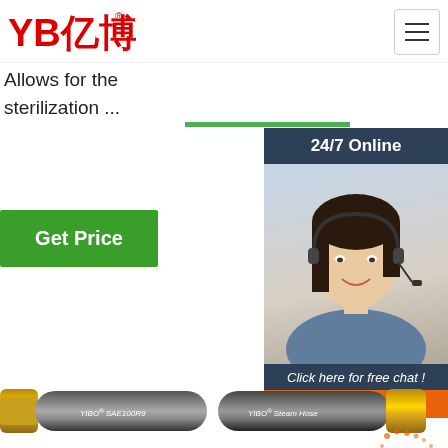[Figure (logo): YB亿博 logo in red with registered trademark symbol, and hamburger menu button on right]
Allows for the sterilization ...
Get Price
[Figure (infographic): 24/7 Online banner with chat agent photo, Click here for free chat text, and QUOTATION button]
[Figure (photo): YIBO SAE100R9 hydraulic rubber hose product image]
[Figure (photo): YIBO Steam Hose rubber hose product image]
Special Hoses - VELON INDUSTRIAL INC - Page 1
INDUSTRIAL RUBBER HOSE - JYM®
10 Inches Rubber Transfer Hose For
[Figure (other): TOP badge icon in orange dots]